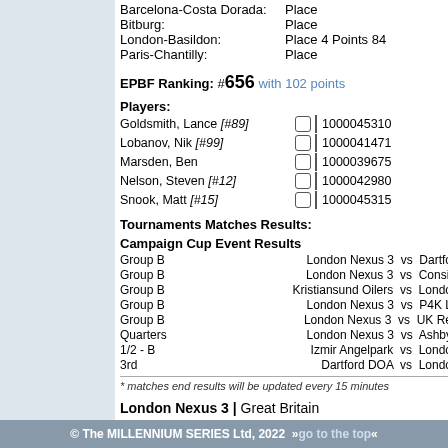Barcelona-Costa Dorada: Place
Bitburg: Place
London-Basildon: Place 4 Points 84
Paris-Chantilly: Place
EPBF Ranking: #656 with 102 points
Players:
Goldsmith, Lance [#89] 1000045310
Lobanov, Nik [#99] 1000041471
Marsden, Ben 1000039675
Nelson, Steven [#12] 1000042980
Snook, Matt [#15] 1000045315
Tournaments Matches Results:
Campaign Cup Event Results
Group B   London Nexus 3 vs Dartfo
Group B   London Nexus 3 vs Consil
Group B   Kristiansund Oilers vs Londo
Group B   London Nexus 3 vs P4K L
Group B   London Nexus 3 vs UK Re
Quarters  London Nexus 3 vs Ashby
1/2 - B   Izmir Angelpark vs Londo
3rd       Dartford DOA vs Londo
* matches end results will be updated every 15 minutes
London Nexus 3 | Great Britain
Season 2015
Category: Open Division 2
Series Ranking: #30 with 60 points overall
Burst-Sur-Armoney: Place
© The MILLENNIUM SERIES Ltd, 2022  » go to the top «